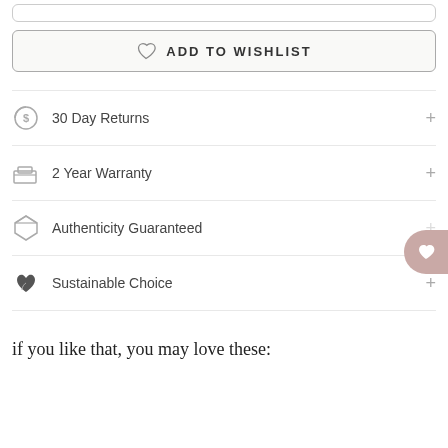ADD TO WISHLIST
30 Day Returns
2 Year Warranty
Authenticity Guaranteed
Sustainable Choice
if you like that, you may love these: